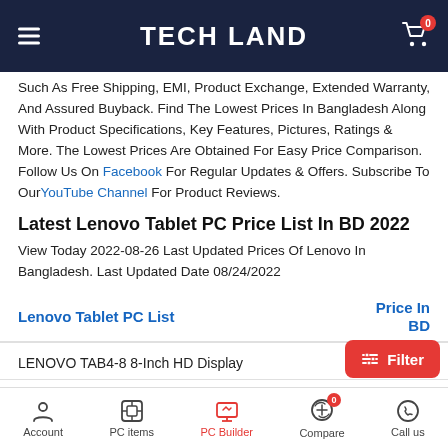TECH LAND
Such As Free Shipping, EMI, Product Exchange, Extended Warranty, And Assured Buyback. Find The Lowest Prices In Bangladesh Along With Product Specifications, Key Features, Pictures, Ratings & More. The Lowest Prices Are Obtained For Easy Price Comparison. Follow Us On Facebook For Regular Updates & Offers. Subscribe To Our YouTube Channel For Product Reviews.
Latest Lenovo Tablet PC Price List In BD 2022
View Today 2022-08-26 Last Updated Prices Of Lenovo In Bangladesh. Last Updated Date 08/24/2022
| Lenovo Tablet PC List | Price In BD |
| --- | --- |
| LENOVO TAB4-8 8-Inch HD Display |  |
Account | PC items | PC Builder | Compare | Call us